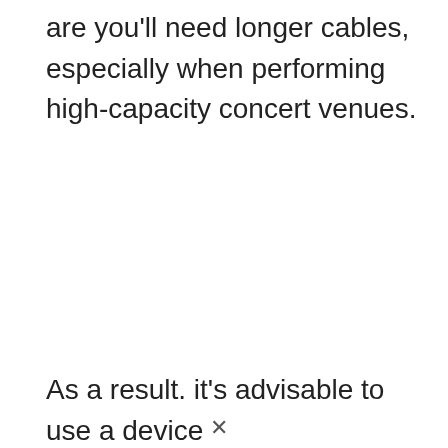are you'll need longer cables, especially when performing high-capacity concert venues.
As a result. it's advisable to use a device